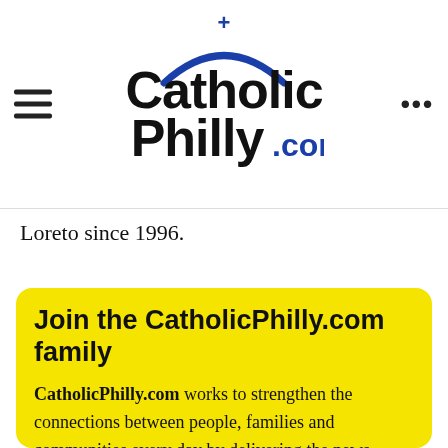CatholicPhilly.com
Loreto since 1996.
Join the CatholicPhilly.com family
CatholicPhilly.com works to strengthen the connections between people, families and communities every day by delivering the news people need to know about the Catholic Church, especially in the Philadelphia region, and the world in which we live.